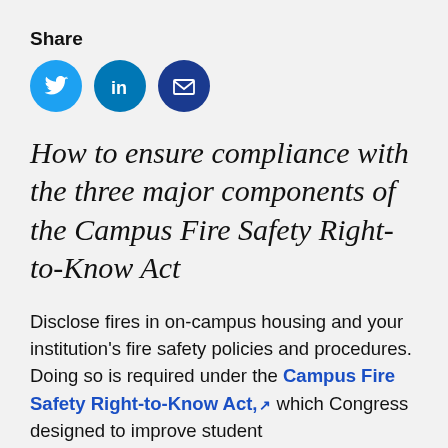Share
[Figure (illustration): Three social media sharing icons: Twitter (light blue circle), LinkedIn (medium blue circle), Email (dark blue circle with envelope)]
How to ensure compliance with the three major components of the Campus Fire Safety Right-to-Know Act
Disclose fires in on-campus housing and your institution's fire safety policies and procedures. Doing so is required under the Campus Fire Safety Right-to-Know Act, which Congress designed to improve student